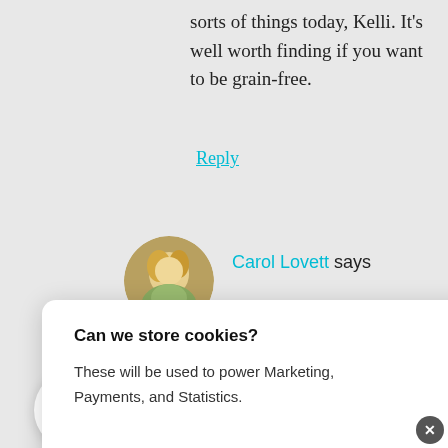sorts of things today, Kelli. It’s well worth finding if you want to be grain-free.
Reply
Carol Lovett says
Can we store cookies?
These will be used to power Marketing, Payments, and Statistics.
No, Customize
This is okay
Suzanne says
January 8, 2013 at 6:17 pm